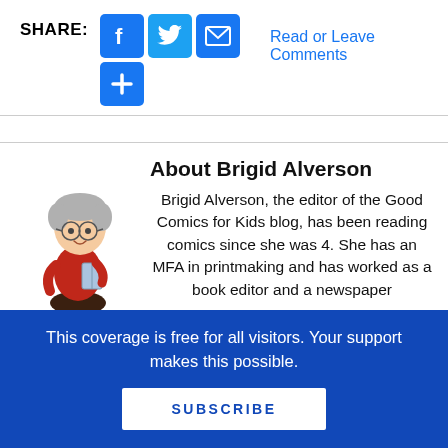SHARE:
[Figure (infographic): Social share buttons: Facebook (blue f), Twitter (blue bird), Email (blue envelope), and a blue plus button below]
Read or Leave Comments
[Figure (illustration): Cartoon illustration of an older woman with grey hair, glasses, wearing a red jacket, holding a book, sitting/kneeling]
About Brigid Alverson
Brigid Alverson, the editor of the Good Comics for Kids blog, has been reading comics since she was 4. She has an MFA in printmaking and has worked as a book editor and a newspaper
This coverage is free for all visitors. Your support makes this possible.
SUBSCRIBE